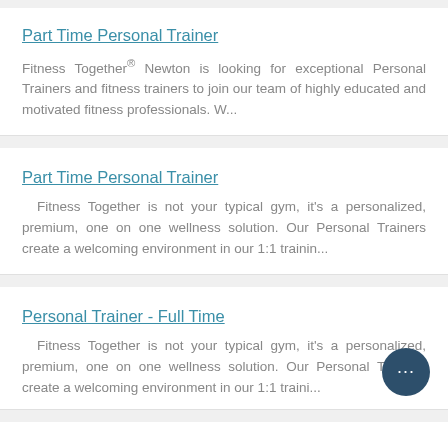Part Time Personal Trainer
Fitness Together® Newton is looking for exceptional Personal Trainers and fitness trainers to join our team of highly educated and motivated fitness professionals. W...
Part Time Personal Trainer
Fitness Together is not your typical gym, it's a personalized, premium, one on one wellness solution. Our Personal Trainers create a welcoming environment in our 1:1 trainin...
Personal Trainer - Full Time
Fitness Together is not your typical gym, it's a personalized, premium, one on one wellness solution. Our Personal Trainers create a welcoming environment in our 1:1 traini...